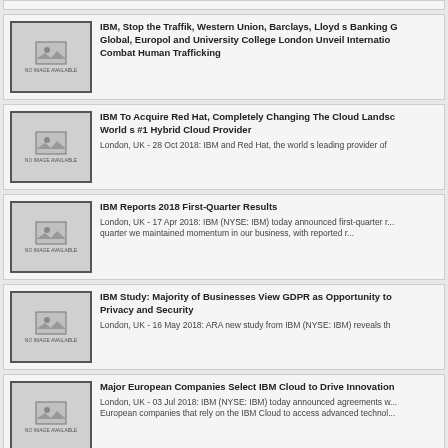IBM, Stop the Traffik, Western Union, Barclays, Lloyd s Banking Group, Europol and University College London Unveil International Initiative to Combat Human Trafficking
IBM To Acquire Red Hat, Completely Changing The Cloud Landscape And Becoming World s #1 Hybrid Cloud Provider
London, UK - 28 Oct 2018: IBM and Red Hat, the world s leading provider of
IBM Reports 2018 First-Quarter Results
London, UK - 17 Apr 2018: IBM (NYSE: IBM) today announced first-quarter r... quarter we maintained momentum in our business, with reported r...
IBM Study: Majority of Businesses View GDPR as Opportunity to Privacy and Security
London, UK - 16 May 2018: ARA new study from IBM (NYSE: IBM) reveals th
Major European Companies Select IBM Cloud to Drive Innovation
London, UK - 03 Jul 2018: IBM (NYSE: IBM) today announced agreements w... European companies that rely on the IBM Cloud to access advanced technol...
IBM Study: Hidden Costs of Data Breaches Increase Expenses fo
London, UK - 11 Jul 2018: IBM (NYSE: IBM) Security today announced the r... examining the full financial impact of a data breach on a comp...
CLS and IBM to foster ecosystem for financial institutions, FinTe...